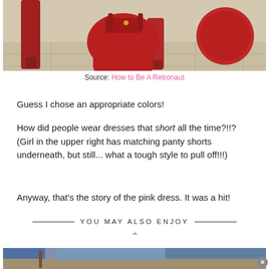[Figure (photo): Photo showing red boots, red handbag, and red accessories arranged against a neutral background]
Source: How to Be A Retronaut
Guess I chose an appropriate colors!
How did people wear dresses that short all the time?!!? (Girl in the upper right has matching panty shorts underneath, but still... what a tough style to pull off!!!)
Anyway, that's the story of the pink dress. It was a hit!
YOU MAY ALSO ENJOY
[Figure (photo): Partial photo visible at bottom of page showing what appears to be a room interior]